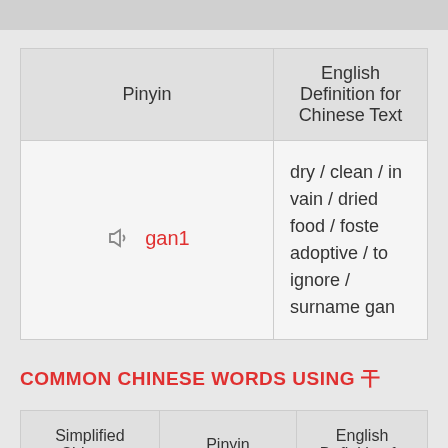| Pinyin | English Definition for Chinese Text |
| --- | --- |
| gan1 | dry / clean / in vain / dried food / foster adoptive / to ignore / surname gan |
COMMON CHINESE WORDS USING 干
| Simplified Chinese | Pinyin | English Definition fo |
| --- | --- | --- |
| 干净 | gan1 jing4 | clean / neat |
| 干 | gan1 | straightforward / cle |